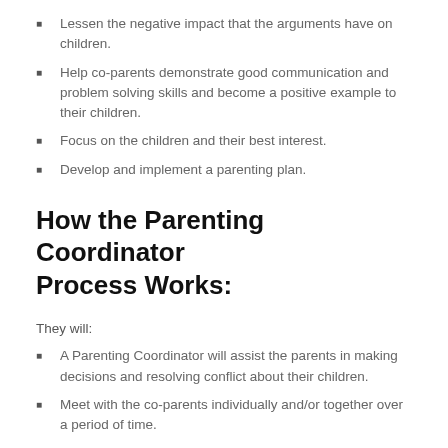Lessen the negative impact that the arguments have on children.
Help co-parents demonstrate good communication and problem solving skills and become a positive example to their children.
Focus on the children and their best interest.
Develop and implement a parenting plan.
How the Parenting Coordinator Process Works:
They will:
A Parenting Coordinator will assist the parents in making decisions and resolving conflict about their children.
Meet with the co-parents individually and/or together over a period of time.
They may also communicate by telephone, email, or electronic video conference like Skype or GoToMeeting™.
Talk to the children or other parties to gather information to understand the family and the issues involved.
They may also conduct a review of important documents from the